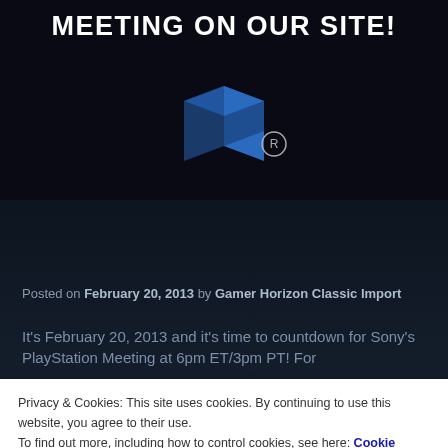MEETING ON OUR SITE!
[Figure (logo): PlayStation logo in blue 3D cube style with registered trademark symbol on dark background]
Posted on February 20, 2013 by Gamer Horizon Classic Import
It's February 20, 2013 and it's time to countdown for Sony's PlayStation Meeting at 6pm ET/3pm PT! For
Privacy & Cookies: This site uses cookies. By continuing to use this website, you agree to their use.
To find out more, including how to control cookies, see here: Cookie Policy
Close and accept
coming out of the PlayStation Meeting in New York